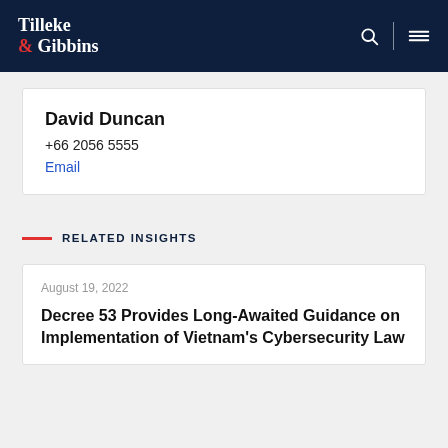Tilleke & Gibbins
David Duncan
+66 2056 5555
Email
RELATED INSIGHTS
August 19, 2022
Decree 53 Provides Long-Awaited Guidance on Implementation of Vietnam's Cybersecurity Law